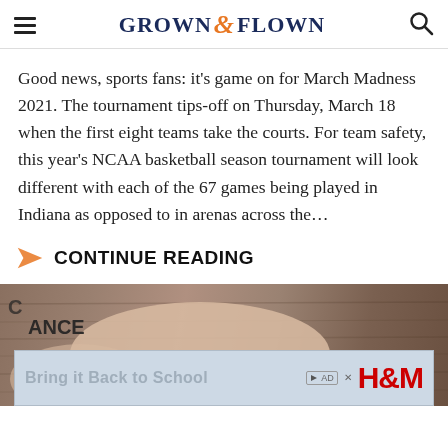GROWN & FLOWN
Good news, sports fans: it’s game on for March Madness 2021. The tournament tips-off on Thursday, March 18 when the first eight teams take the courts. For team safety, this year’s NCAA basketball season tournament will look different with each of the 67 games being played in Indiana as opposed to in arenas across the…
CONTINUE READING
[Figure (photo): A baby's hand resting on a wooden surface, wearing a white outfit with text visible]
[Figure (screenshot): H&M advertisement banner reading 'Bring it Back to School']